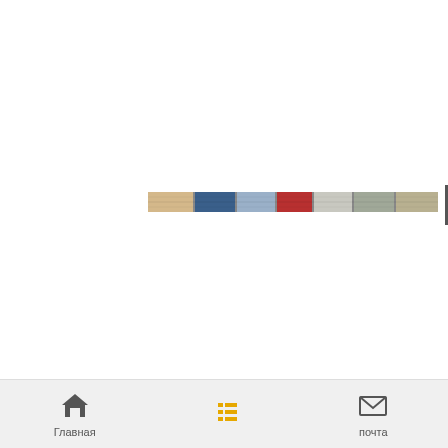[Figure (photo): A narrow horizontal banner strip showing a collage of transportation-related images including trucks, vehicles, and cargo. Located in the center of the page.]
[Figure (screenshot): Mobile app navigation bar at the bottom with three items: Главная (Home) with a house icon, a list/menu icon (active, highlighted in yellow/orange), and почта (Mail) with an envelope icon.]